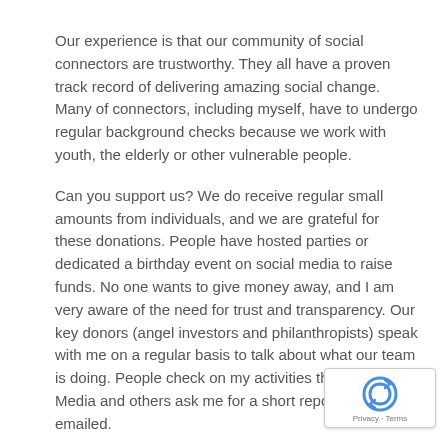Our experience is that our community of social connectors are trustworthy. They all have a proven track record of delivering amazing social change. Many of connectors, including myself, have to undergo regular background checks because we work with youth, the elderly or other vulnerable people.
Can you support us? We do receive regular small amounts from individuals, and we are grateful for these donations. People have hosted parties or dedicated a birthday event on social media to raise funds. No one wants to give money away, and I am very aware of the need for trust and transparency. Our key donors (angel investors and philanthropists) speak with me on a regular basis to talk about what our team is doing. People check on my activities through Social Media and others ask me for a short report to be emailed.